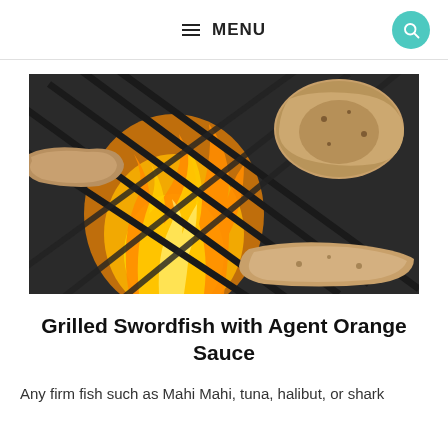≡ MENU
[Figure (photo): Close-up photo of food items on a grill with open flames visible through the grill grates]
Grilled Swordfish with Agent Orange Sauce
Any firm fish such as Mahi Mahi, tuna, halibut, or shark